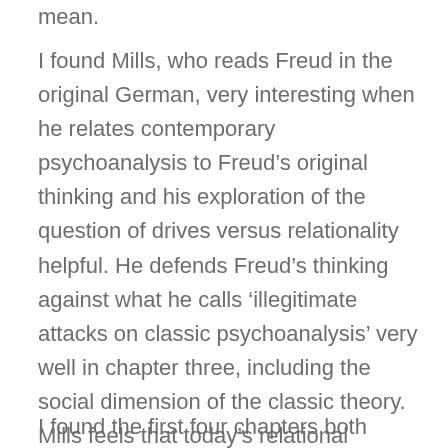mean.
I found Mills, who reads Freud in the original German, very interesting when he relates contemporary psychoanalysis to Freud’s original thinking and his exploration of the question of drives versus relationality helpful. He defends Freud’s thinking against what he calls ‘illegitimate attacks on classic psychoanalysis’ very well in chapter three, including the social dimension of the classic theory. Mills feels that today’s relational psychotherapists have made a significant contribution by being more adept at customizing technique to fit each unique dyad and in treating the patient as a real person.
I found the first four chapters both interesting and, at